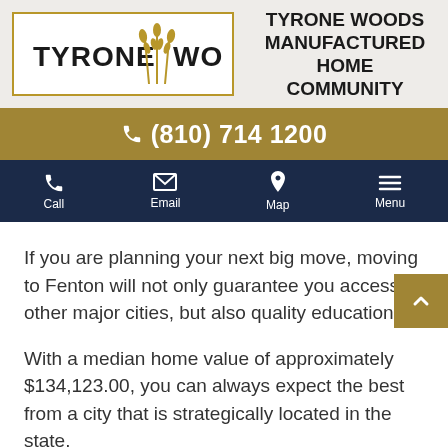[Figure (logo): Tyrone Woods logo with wheat graphic, bordered in gold]
TYRONE WOODS MANUFACTURED HOME COMMUNITY
(810) 714 1200
Call  Email  Map  Menu
If you are planning your next big move, moving to Fenton will not only guarantee you access to other major cities, but also quality education.
With a median home value of approximately $134,123.00, you can always expect the best from a city that is strategically located in the state.